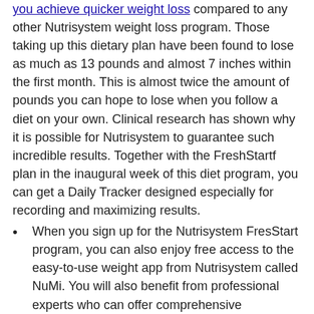you achieve quicker weight loss compared to any other Nutrisystem weight loss program. Those taking up this dietary plan have been found to lose as much as 13 pounds and almost 7 inches within the first month. This is almost twice the amount of pounds you can hope to lose when you follow a diet on your own. Clinical research has shown why it is possible for Nutrisystem to guarantee such incredible results. Together with the FreshStartf plan in the inaugural week of this diet program, you can get a Daily Tracker designed especially for recording and maximizing results.
When you sign up for the Nutrisystem FresStart program, you can also enjoy free access to the easy-to-use weight app from Nutrisystem called NuMi. You will also benefit from professional experts who can offer comprehensive counseling tips and seek assistance from certified diabetes educators any time of the day or night.
When you are done with the first week of FreshStart plan, you are free to move onto regular Nutrisystem meal plans for the rest of the month. So, the FreshStart plan only